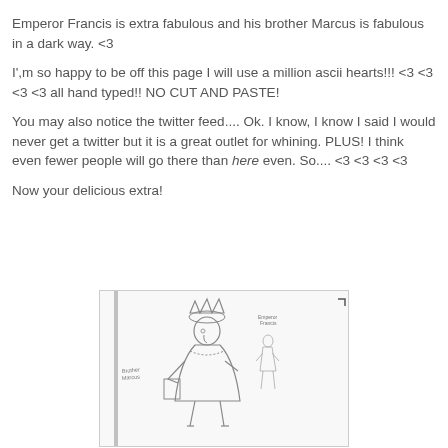Emperor Francis is extra fabulous and his brother Marcus is fabulous in a dark way. <3
I',m so happy to be off this page I will use a million ascii hearts!!! <3 <3 <3 <3 all hand typed!! NO CUT AND PASTE!
You may also notice the twitter feed.... Ok. I know, I know I said I would never get a twitter but it is a great outlet for whining. PLUS! I think even fewer people will go there than here even. So.... <3 <3 <3 <3
Now your delicious extra!
[Figure (illustration): Hand-drawn pencil sketch of Emperor Francis wearing a crown and royal robes with fur trim, holding a scepter or book. A smaller figure labeled 'Emperor Francis' stands to the right. Text on left reads 'Brother Marcus'.]